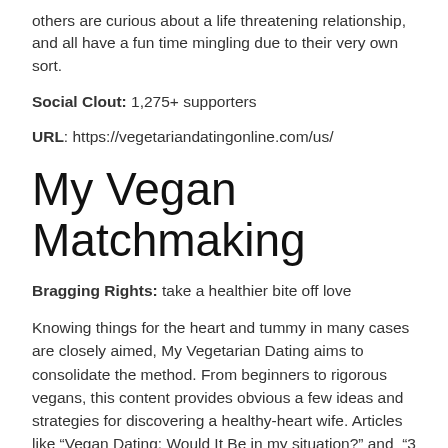others are curious about a life threatening relationship, and all have a fun time mingling due to their very own sort.
Social Clout: 1,275+ supporters
URL: https://vegetariandatingonline.com/us/
My Vegan Matchmaking
Bragging Rights: take a healthier bite off love
Knowing things for the heart and tummy in many cases are closely aimed, My Vegetarian Dating aims to consolidate the method. From beginners to rigorous vegans, this content provides obvious a few ideas and strategies for discovering a healthy-heart wife. Articles like “Vegan Dating: Would It Be in my situation?” and “3 tricks for Bringing the Spark of appeal Back” mix the 2 appetites efficiently.